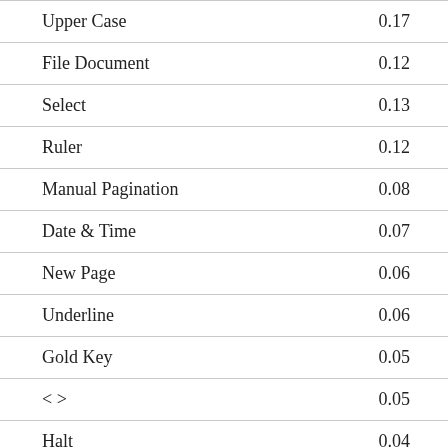|  |  |
| --- | --- |
| Upper Case | 0.17 |
| File Document | 0.12 |
| Select | 0.13 |
| Ruler | 0.12 |
| Manual Pagination | 0.08 |
| Date & Time | 0.07 |
| New Page | 0.06 |
| Underline | 0.06 |
| Gold Key | 0.05 |
| < > | 0.05 |
| Halt | 0.04 |
| Cut | 0.04 |